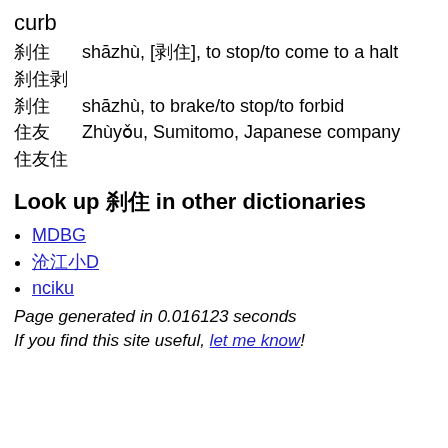curb
刹住  shāzhù, [剎住], to stop/to come to a halt
刹住
刹住  shāzhù, to brake/to stop/to forbid
住友  Zhùyǒu, Sumitomo, Japanese company
住友
Look up 刹住 in other dictionaries
MDBG
沪江小D
nciku
Page generated in 0.016123 seconds
If you find this site useful, let me know!